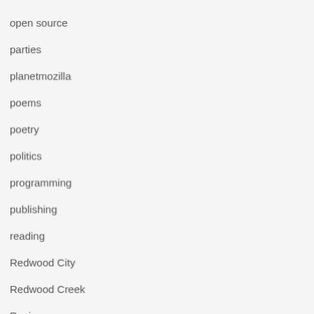open source
parties
planetmozilla
poems
poetry
politics
programming
publishing
reading
Redwood City
Redwood Creek
Review
san francisco
science fiction